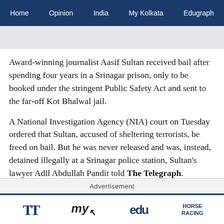Home  Opinion  India  My Kolkata  Edugraph
Award-winning journalist Aasif Sultan received bail after spending four years in a Srinagar prison, only to be booked under the stringent Public Safety Act and sent to the far-off Kot Bhalwal jail.
A National Investigation Agency (NIA) court on Tuesday ordered that Sultan, accused of sheltering terrorists, be freed on bail. But he was never released and was, instead, detained illegally at a Srinagar police station, Sultan's lawyer Adil Abdullah Pandit told The Telegraph.
Advertisement
TT  my  edu  HORSE RACING